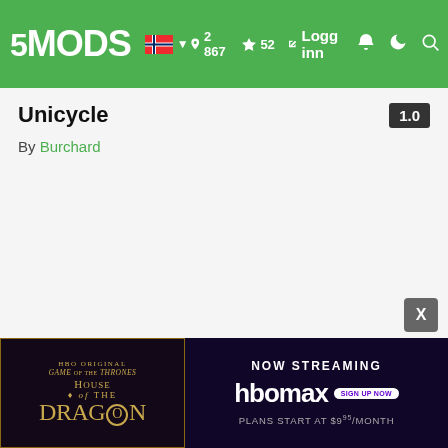5MODS — Logg inn — 2 867 notifications — 52 likes
Unicycle  1.0
By Burchard
[Figure (screenshot): House of the Dragon HBO Max advertisement banner with 'NOW STREAMING' text and 'PLANS START AT $9⁹⁵/MONTH']